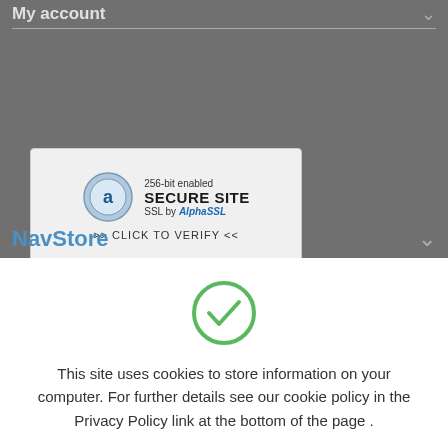My account
[Figure (logo): 256-bit enabled SECURE SITE SSL by AlphaSSL >> CLICK TO VERIFY <<]
NavStore
[Figure (illustration): Green circle with a checkmark (success/confirmation icon)]
This site uses cookies to store information on your computer. For further details see our cookie policy in the Privacy Policy link at the bottom of the page .
Ok